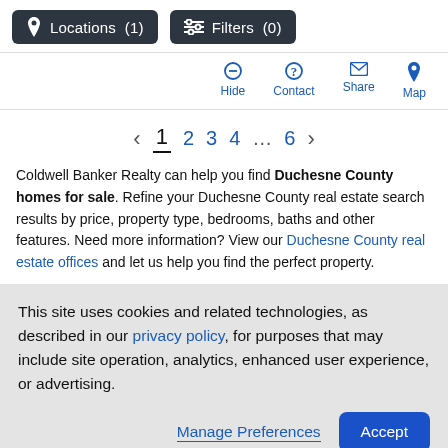[Figure (screenshot): Top navigation bar with Locations (1) and Filters (0) buttons, and action icons for Hide, Contact, Share, Map]
[Figure (other): Pagination control showing pages 1 (current, underlined), 2, 3, 4, ... 6 with prev/next arrows]
Coldwell Banker Realty can help you find Duchesne County homes for sale. Refine your Duchesne County real estate search results by price, property type, bedrooms, baths and other features. Need more information? View our Duchesne County real estate offices and let us help you find the perfect property.
This site uses cookies and related technologies, as described in our privacy policy, for purposes that may include site operation, analytics, enhanced user experience, or advertising.
Manage Preferences  Accept